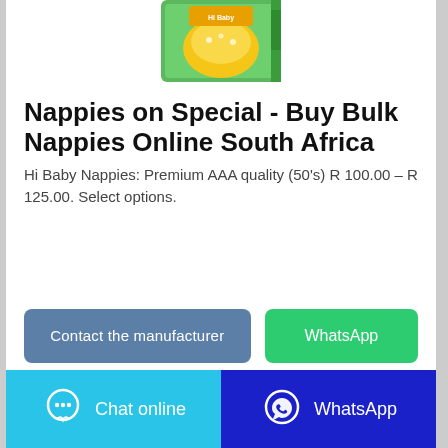[Figure (photo): Product photo of Hi Baby Nappies packaging — green box with baby image]
Nappies on Special - Buy Bulk Nappies Online South Africa
Hi Baby Nappies: Premium AAA quality (50's) R 100.00 – R 125.00. Select options.
Contact the manufacturer
WhatsApp
Chat online
WhatsApp